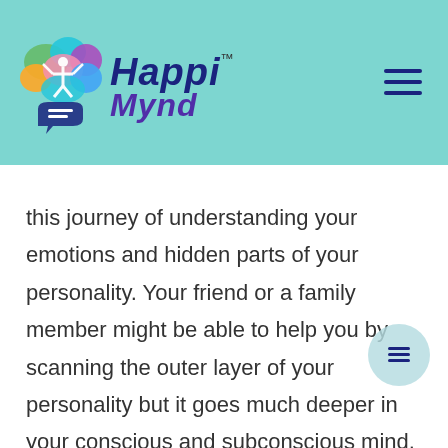[Figure (logo): HappiMynd logo with colorful brain graphic and stylized text 'Happi Mynd' with TM mark. Navigation hamburger menu icon on the right.]
this journey of understanding your emotions and hidden parts of your personality. Your friend or a family member might be able to help you by scanning the outer layer of your personality but it goes much deeper in your conscious and subconscious mind. The experts are trained professionals who help people to heal and thrive by discovering the deepest of information about your personality and emotions through multiple scientific methods and experiences.